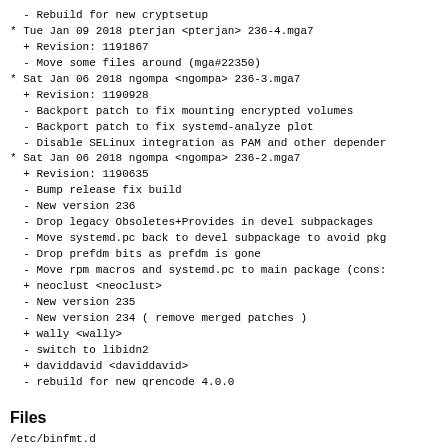- Rebuild for new cryptsetup
* Tue Jan 09 2018 pterjan <pterjan> 236-4.mga7
  + Revision: 1191867
  - Move some files around (mga#22350)
* Sat Jan 06 2018 ngompa <ngompa> 236-3.mga7
  + Revision: 1190928
  - Backport patch to fix mounting encrypted volumes
  - Backport patch to fix systemd-analyze plot
  - Disable SELinux integration as PAM and other depender
* Sat Jan 06 2018 ngompa <ngompa> 236-2.mga7
  + Revision: 1190635
  - Bump release fix build
  - New version 236
  - Drop legacy Obsoletes+Provides in devel subpackages
  - Move systemd.pc back to devel subpackage to avoid pkg
  - Drop prefdm bits as prefdm is gone
  - Move rpm macros and systemd.pc to main package (cons:
  + neoclust <neoclust>
  - New version 235
  - New version 234 ( remove merged patches )
  + wally <wally>
  - switch to libidn2
  + daviddavid <daviddavid>
  - rebuild for new qrencode 4.0.0
Files
/etc/binfmt.d